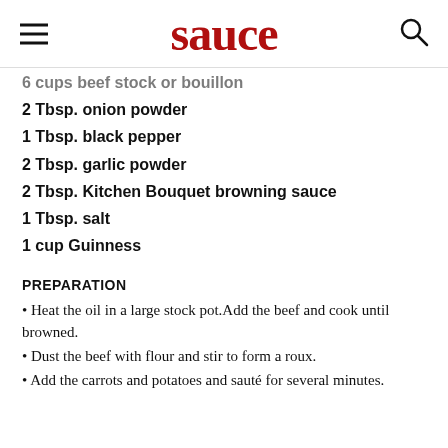sauce
6 cups beef stock or bouillon
2 Tbsp. onion powder
1 Tbsp. black pepper
2 Tbsp. garlic powder
2 Tbsp. Kitchen Bouquet browning sauce
1 Tbsp. salt
1 cup Guinness
PREPARATION
• Heat the oil in a large stock pot.Add the beef and cook until browned.
• Dust the beef with flour and stir to form a roux.
• Add the carrots and potatoes and sauté for several minutes.